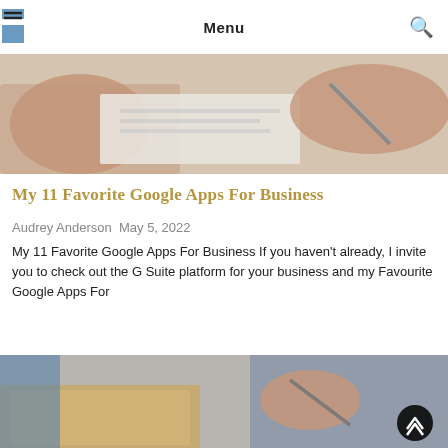Menu
[Figure (photo): Close-up photo of two people reviewing documents at a desk, hands visible with papers]
My 11 Favorite Google Apps For Business
Audrey Anderson May 5, 2022
My 11 Favorite Google Apps For Business If you haven't already, I invite you to check out the G Suite platform for your business and my Favourite Google Apps For
Read More »
[Figure (photo): Photo of a person writing on a cardboard box, with blue items visible in the background]